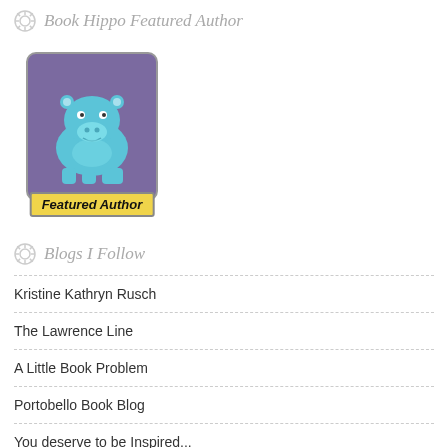Book Hippo Featured Author
[Figure (illustration): Book Hippo Featured Author badge: cartoon blue hippo on purple background with 'Featured Author' yellow banner label at bottom]
Blogs I Follow
Kristine Kathryn Rusch
The Lawrence Line
A Little Book Problem
Portobello Book Blog
You deserve to be Inspired...